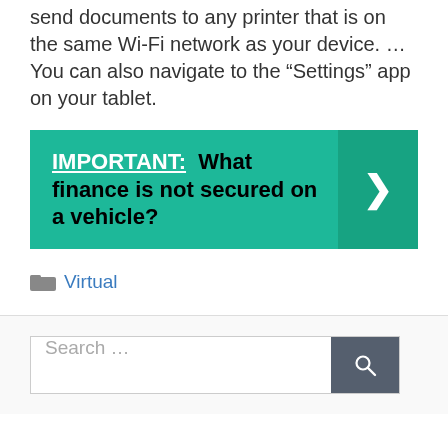send documents to any printer that is on the same Wi-Fi network as your device. … You can also navigate to the “Settings” app on your tablet.
IMPORTANT:  What finance is not secured on a vehicle?
Virtual
Search …